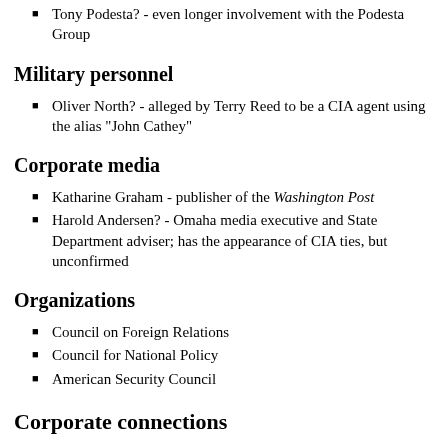Tony Podesta? - even longer involvement with the Podesta Group
Military personnel
Oliver North? - alleged by Terry Reed to be a CIA agent using the alias "John Cathey"
Corporate media
Katharine Graham - publisher of the Washington Post
Harold Andersen? - Omaha media executive and State Department adviser; has the appearance of CIA ties, but unconfirmed
Organizations
Council on Foreign Relations
Council for National Policy
American Security Council
Corporate connections